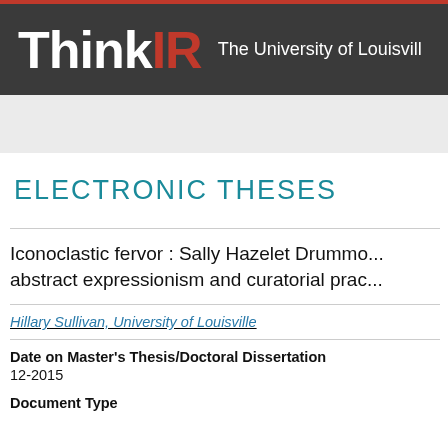ThinkIR The University of Louisville
ELECTRONIC THESES
Iconoclastic fervor : Sally Hazelet Drummond, abstract expressionism and curatorial prac...
Hillary Sullivan, University of Louisville
Date on Master's Thesis/Doctoral Dissertation
12-2015
Document Type